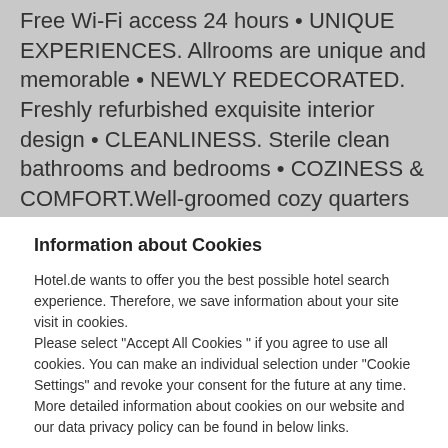Free Wi-Fi access 24 hours • UNIQUE EXPERIENCES. Allrooms are unique and memorable • NEWLY REDECORATED. Freshly refurbished exquisite interior design • CLEANLINESS. Sterile clean bathrooms and bedrooms • COZINESS & COMFORT.Well-groomed cozy quarters fully equipped with modern amenities • CUSTOMIZED DECORATION OF BEDROOMS. Tailored adornment of bedrooms • PLEASANT ATMOSPHERE. All
Information about Cookies
Hotel.de wants to offer you the best possible hotel search experience. Therefore, we save information about your site visit in cookies.
Please select "Accept All Cookies " if you agree to use all cookies. You can make an individual selection under "Cookie Settings" and revoke your consent for the future at any time. More detailed information about cookies on our website and our data privacy policy can be found in below links.
Cookie Policy | Data Protection & Security | Imprint